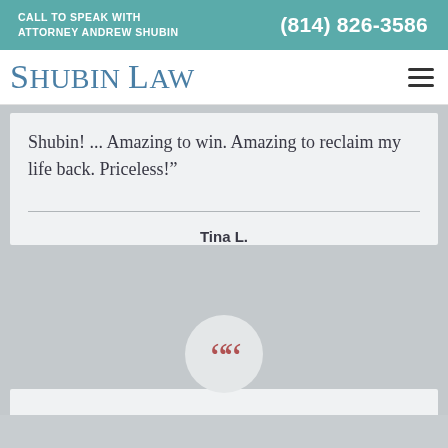CALL TO SPEAK WITH ATTORNEY ANDREW SHUBIN   (814) 826-3586
Shubin Law
Shubin! ... Amazing to win. Amazing to reclaim my life back. Priceless!”
Tina L.
[Figure (illustration): Large decorative red/dark-red quotation marks icon inside a light grey circle, used as a testimonial section divider]